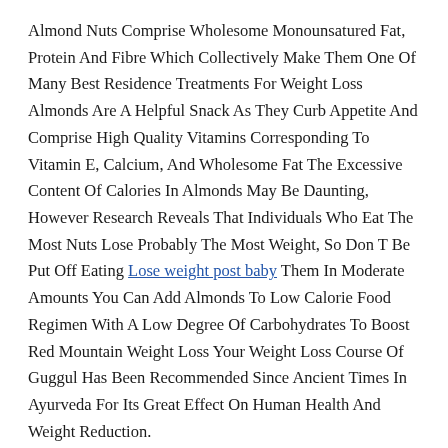Almond Nuts Comprise Wholesome Monounsatured Fat, Protein And Fibre Which Collectively Make Them One Of Many Best Residence Treatments For Weight Loss Almonds Are A Helpful Snack As They Curb Appetite And Comprise High Quality Vitamins Corresponding To Vitamin E, Calcium, And Wholesome Fat The Excessive Content Of Calories In Almonds May Be Daunting, However Research Reveals That Individuals Who Eat The Most Nuts Lose Probably The Most Weight, So Don T Be Put Off Eating Lose weight post baby Them In Moderate Amounts You Can Add Almonds To Low Calorie Food Regimen With A Low Degree Of Carbohydrates To Boost Red Mountain Weight Loss Your Weight Loss Course Of Guggul Has Been Recommended Since Ancient Times In Ayurveda For Its Great Effect On Human Health And Weight Reduction.